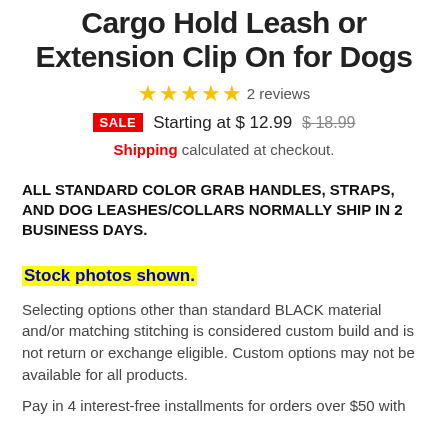Cargo Hold Leash or Extension Clip On for Dogs
★★★★★ 2 reviews
SALE Starting at $ 12.99  $ 18.99
Shipping calculated at checkout.
ALL STANDARD COLOR GRAB HANDLES, STRAPS, AND DOG LEASHES/COLLARS NORMALLY SHIP IN 2 BUSINESS DAYS.
Stock photos shown.
Selecting options other than standard BLACK material and/or matching stitching is considered custom build and is not return or exchange eligible. Custom options may not be available for all products.
Pay in 4 interest-free installments for orders over $50 with